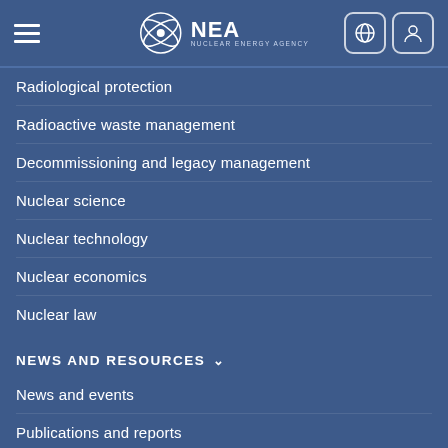NEA Nuclear Energy Agency
Radiological protection
Radioactive waste management
Decommissioning and legacy management
Nuclear science
Nuclear technology
Nuclear economics
Nuclear law
NEWS AND RESOURCES
News and events
Publications and reports
Projects
Co-sponsored events